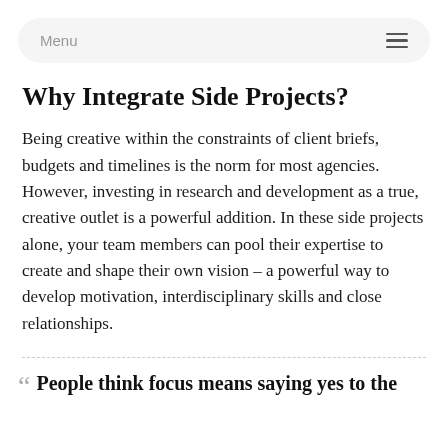Menu
Why Integrate Side Projects?
Being creative within the constraints of client briefs, budgets and timelines is the norm for most agencies. However, investing in research and development as a true, creative outlet is a powerful addition. In these side projects alone, your team members can pool their expertise to create and shape their own vision – a powerful way to develop motivation, interdisciplinary skills and close relationships.
“ People think focus means saying yes to the